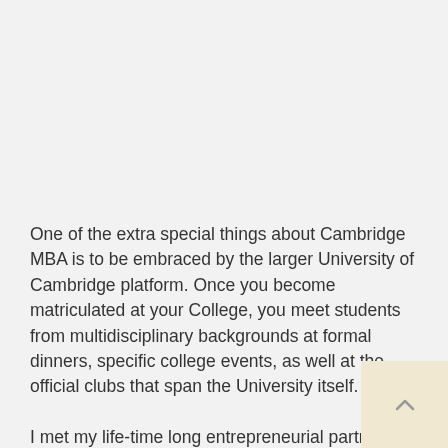One of the extra special things about Cambridge MBA is to be embraced by the larger University of Cambridge platform. Once you become matriculated at your College, you meet students from multidisciplinary backgrounds at formal dinners, specific college events, as well at the official clubs that span the University itself.

I met my life-time long entrepreneurial partners from both my MBA Class of 2017/18 as well as from the